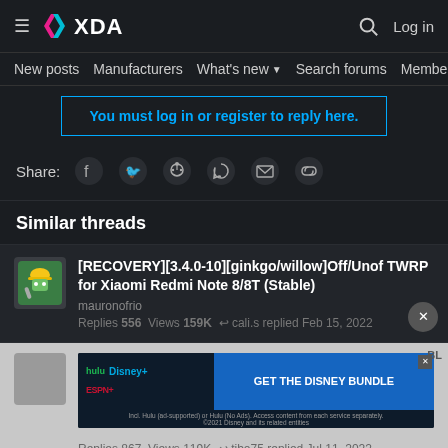XDA — Log in
New posts  Manufacturers  What's new  Search forums  Members
You must log in or register to reply here.
Share:
Similar threads
[RECOVERY][3.4.0-10][ginkgo/willow]Off/Unof TWRP for Xiaomi Redmi Note 8/8T (Stable)
mauronofrio
Replies 556  Views 159K  cali.s replied Feb 15, 2022
[Figure (screenshot): Disney Bundle advertisement banner showing Hulu, Disney+, and ESPN+ logos with GET THE DISNEY BUNDLE call to action]
Replies 867  Views 119K  tibo75 replied Jul 11, 2022